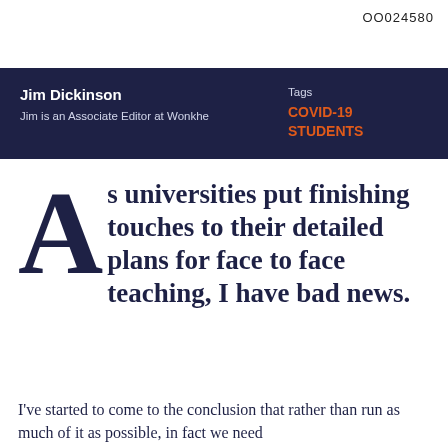OO024580
Jim Dickinson
Jim is an Associate Editor at Wonkhe

Tags
COVID-19
STUDENTS
As universities put finishing touches to their detailed plans for face to face teaching, I have bad news.
I've started to come to the conclusion that rather than run as much of it as possible, in fact we need